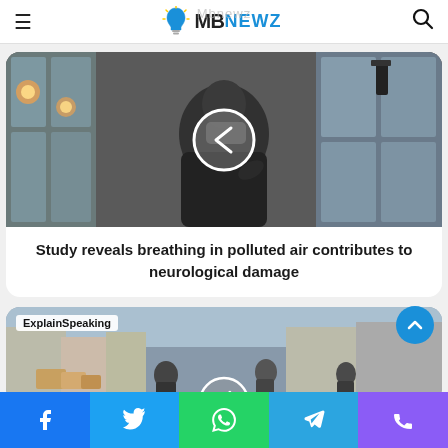MBnewz
[Figure (photo): Person wearing a face mask outdoors near a glass building with lights, with a left-arrow navigation circle overlay]
Study reveals breathing in polluted air contributes to neurological damage
[Figure (photo): Street market scene with people and boxes, labeled ExplainSpeaking]
Social share bar with Facebook, Twitter, WhatsApp, Telegram, Phone icons